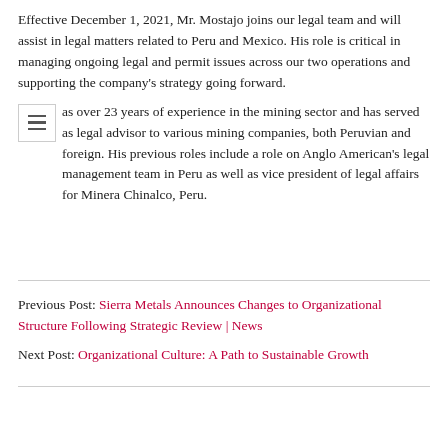Effective December 1, 2021, Mr. Mostajo joins our legal team and will assist in legal matters related to Peru and Mexico. His role is critical in managing ongoing legal and permit issues across our two operations and supporting the company's strategy going forward.
...as over 23 years of experience in the mining sector and has served as legal advisor to various mining companies, both Peruvian and foreign. His previous roles include a role on Anglo American's legal management team in Peru as well as vice president of legal affairs for Minera Chinalco, Peru.
Previous Post: Sierra Metals Announces Changes to Organizational Structure Following Strategic Review | News
Next Post: Organizational Culture: A Path to Sustainable Growth